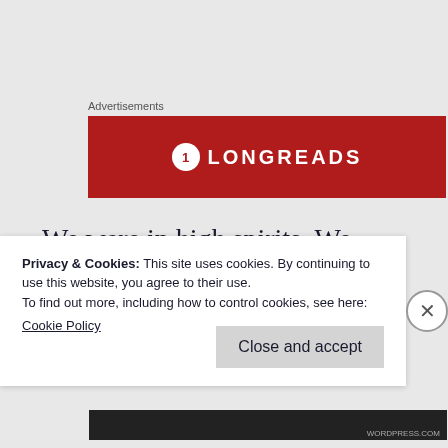Advertisements
[Figure (logo): Longreads advertisement banner — red background with circular logo and LONGREADS text in white]
We were in high spirits. We laughed, exclaimed over the beauty around us and the sweet charm of the houses. Takeaway: that beauty has been there just waiting to be seen and felt, but we had to cross the bridge to do it. something
Privacy & Cookies: This site uses cookies. By continuing to use this website, you agree to their use.
To find out more, including how to control cookies, see here:
Cookie Policy
Close and accept